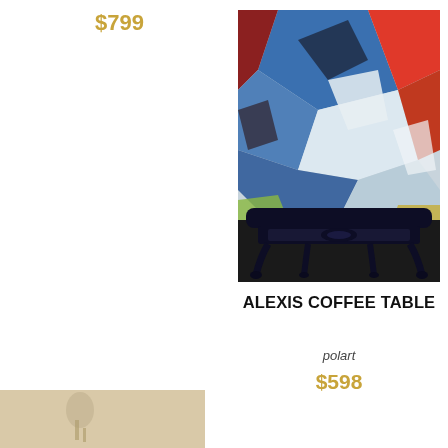$799
[Figure (photo): Black ornate baroque-style coffee table against an abstract expressionist painting with bold blue, red, and white brushstrokes]
ALEXIS COFFEE TABLE
polart
$598
[Figure (photo): Partial thumbnail of another product at bottom left, beige/tan colored background with small object visible]